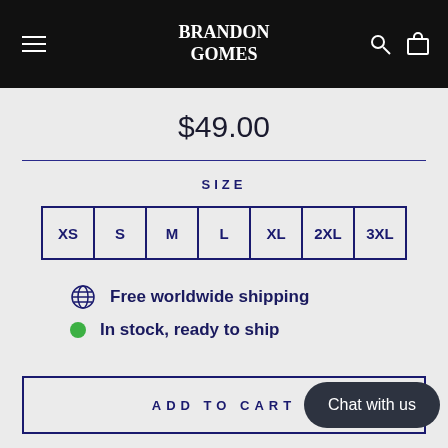Brandon Gomes — navigation header with logo, menu icon, search icon, and cart icon
$49.00
SIZE
| XS | S | M | L | XL | 2XL | 3XL |
| --- | --- | --- | --- | --- | --- | --- |
Free worldwide shipping
In stock, ready to ship
ADD TO CART
Chat with us